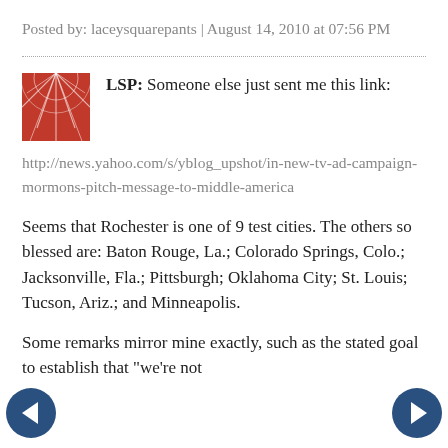Posted by: laceysquarepants | August 14, 2010 at 07:56 PM
LSP: Someone else just sent me this link:
http://news.yahoo.com/s/yblog_upshot/in-new-tv-ad-campaign-mormons-pitch-message-to-middle-america
Seems that Rochester is one of 9 test cities. The others so blessed are: Baton Rouge, La.; Colorado Springs, Colo.; Jacksonville, Fla.; Pittsburgh; Oklahoma City; St. Louis; Tucson, Ariz.; and Minneapolis.
Some remarks mirror mine exactly, such as the stated goal to establish that "we're not